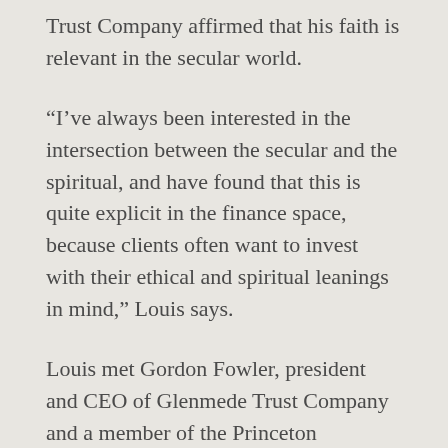Trust Company affirmed that his faith is relevant in the secular world.
“I’ve always been interested in the intersection between the secular and the spiritual, and have found that this is quite explicit in the finance space, because clients often want to invest with their ethical and spiritual leanings in mind,” Louis says.
Louis met Gordon Fowler, president and CEO of Glenmede Trust Company and a member of the Princeton Seminary Board of Trustees, in 2018 while working as a teacher at St. James School in Philadelphia, Pennsylvania. Louis approached Fowler with the idea for the field placement, then submitted his application to Princeton Theological Seminary’s Office of Field Education and Vocational